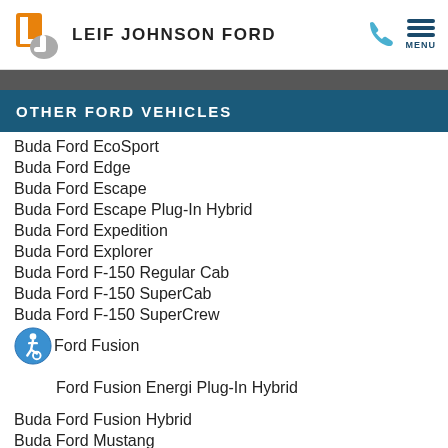LEIF JOHNSON FORD
OTHER FORD VEHICLES
Buda Ford EcoSport
Buda Ford Edge
Buda Ford Escape
Buda Ford Escape Plug-In Hybrid
Buda Ford Expedition
Buda Ford Explorer
Buda Ford F-150 Regular Cab
Buda Ford F-150 SuperCab
Buda Ford F-150 SuperCrew
Buda Ford Fusion
Buda Ford Fusion Energi Plug-In Hybrid
Buda Ford Fusion Hybrid
Buda Ford Mustang
Buda Ford Mustang Shelby
Buda Ford Ranger SuperCab